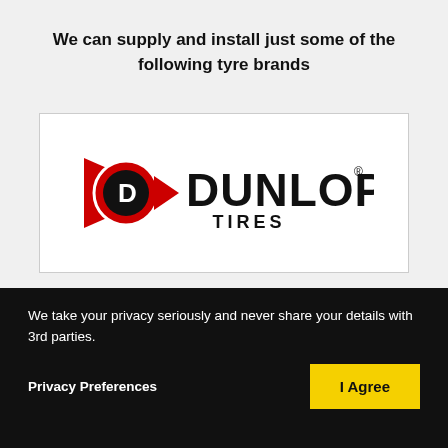We can supply and install just some of the following tyre brands
[Figure (logo): Dunlop Tires logo — red arrow chevron with a 'D' badge and bold black text reading DUNLOP TIRES]
We take your privacy seriously and never share your details with 3rd parties.
Privacy Preferences
I Agree